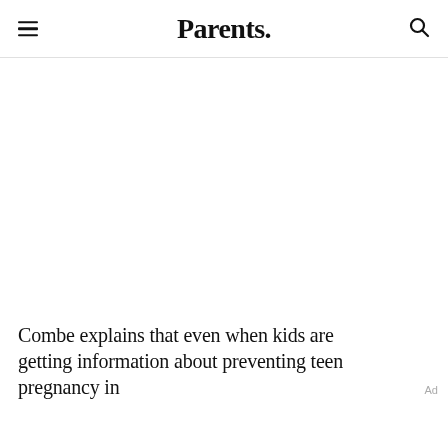Parents.
[Figure (other): Large blank/white content area below the header, representing a placeholder for an image or video]
Combe explains that even when kids are getting information about preventing teen pregnancy in
Ad